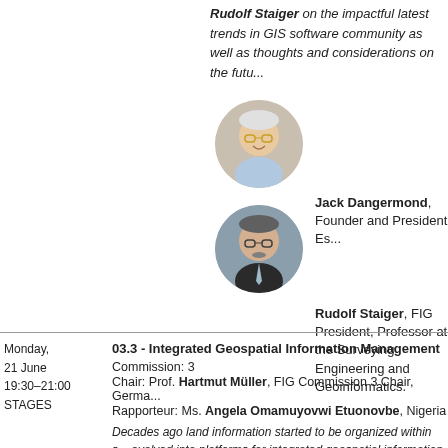Rudolf Staiger on the impactful latest trends in GIS software community as well as thoughts and considerations on the future...
[Figure (photo): Circular portrait photo of Jack Dangermond, an older man with glasses and a suit]
Jack Dangermond, Founder and President Es...
[Figure (photo): Circular portrait photo of Rudolf Staiger, a man with glasses and a suit with tie]
Rudolf Staiger, FIG President, Professor at the Surveying Engineering and Geoinformatics.
Monday, 21 June 19:30–21:00 STAGES
03.3 - Integrated Geospatial Information Management
Commission: 3
Chair: Prof. Hartmut Müller, FIG Commission 3 Chair, Germany
Rapporteur: Ms. Angela Omamuyovwi Etuonovbe, Nigeria
Decades ago land information started to be organized within systems that evolved into platforms for integrated geospatial information management. requirements and best practices for such an integrated geospatial...